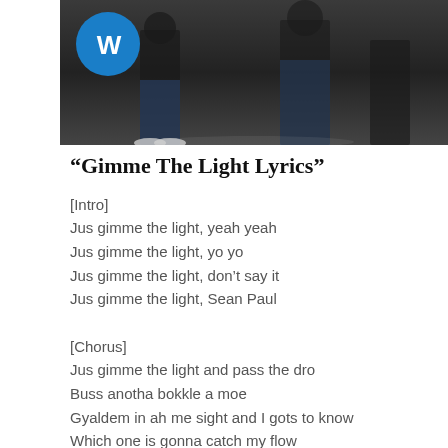[Figure (photo): A dark photo of people with a Warner Music badge/logo in the top left corner]
“Gimme The Light Lyrics”
[Intro]
Jus gimme the light, yeah yeah
Jus gimme the light, yo yo
Jus gimme the light, don’t say it
Jus gimme the light, Sean Paul

[Chorus]
Jus gimme the light and pass the dro
Buss anotha bokkle a moe
Gyaldem in ah me sight and I gots to know
Which one is gonna catch my flow
Cause I’m inna the vibes
And I got my dough
Buss anotha bokkle a moe